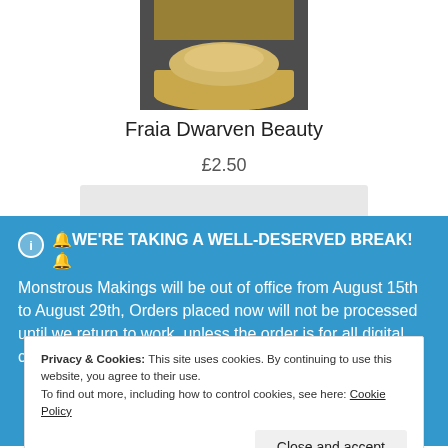[Figure (photo): Partial view of a product (Fraia Dwarven Beauty figurine) on a dark grey background, showing the bottom portion of the item in warm golden/beige tones.]
Fraia Dwarven Beauty
£2.50
🔔WE'RE TAKING A WELL-DESERVED BREAK!🔔 Monstrous Makings will be out of office from August 15th to August 29th, Orders placed now will not be processed until we return to work, unless the order is for all digital content then the website should handle that
Privacy & Cookies: This site uses cookies. By continuing to use this website, you agree to their use. To find out more, including how to control cookies, see here: Cookie Policy
Close and accept